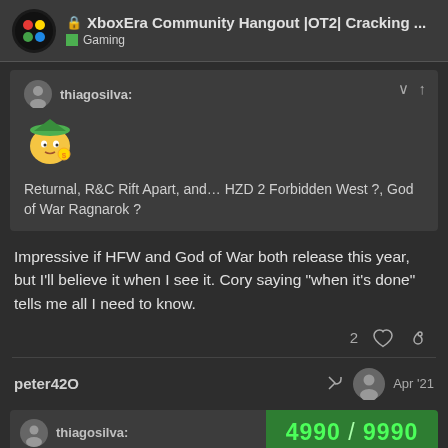XboxEra Community Hangout |OT2| Cracking ... Gaming
thiagosilva:
[Figure (illustration): Emoji of a cartoon face with a cowboy/Link-style hat thinking with a coin]
Returnal, R&C Rift Apart, and… HZD 2 Forbidden West ?, God of War Ragnarok ?
Impressive if HFW and God of War both release this year, but I'll believe it when I see it. Cory saying "when it's done" tells me all I need to know.
2
peter42O
Apr '21
thiagosilva:
4990 / 9990